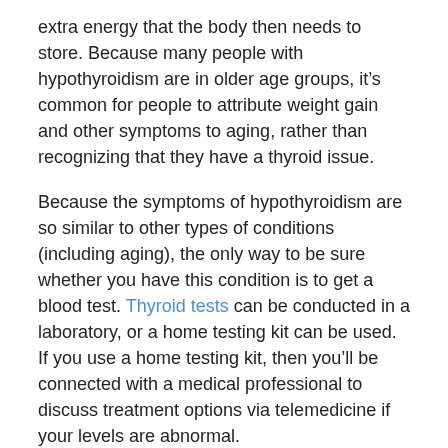extra energy that the body then needs to store. Because many people with hypothyroidism are in older age groups, it's common for people to attribute weight gain and other symptoms to aging, rather than recognizing that they have a thyroid issue.
Because the symptoms of hypothyroidism are so similar to other types of conditions (including aging), the only way to be sure whether you have this condition is to get a blood test. Thyroid tests can be conducted in a laboratory, or a home testing kit can be used. If you use a home testing kit, then you'll be connected with a medical professional to discuss treatment options via telemedicine if your levels are abnormal.
Sources
Damara FA, Muchamad GH, et al. Thyroid disease and hypothyroidism are associated with poor COVID-19